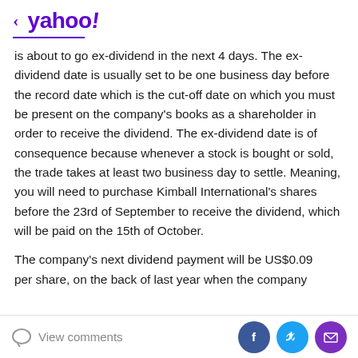< yahoo!
is about to go ex-dividend in the next 4 days. The ex-dividend date is usually set to be one business day before the record date which is the cut-off date on which you must be present on the company's books as a shareholder in order to receive the dividend. The ex-dividend date is of consequence because whenever a stock is bought or sold, the trade takes at least two business day to settle. Meaning, you will need to purchase Kimball International's shares before the 23rd of September to receive the dividend, which will be paid on the 15th of October.
The company's next dividend payment will be US$0.09 per share, on the back of last year when the company
View comments